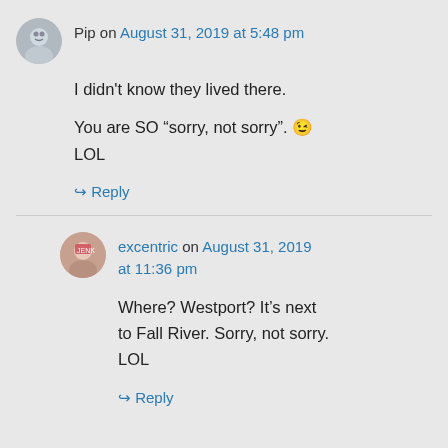Pip on August 31, 2019 at 5:48 pm
I didn't know they lived there.

You are SO “sorry, not sorry”. 😉 LOL
↳ Reply
excentric on August 31, 2019 at 11:36 pm
Where? Westport? It’s next to Fall River. Sorry, not sorry. LOL
↳ Reply